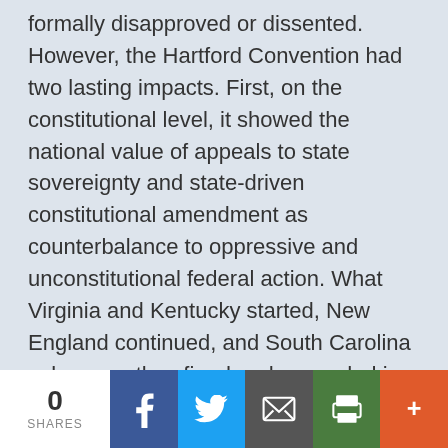formally disapproved or dissented. However, the Hartford Convention had two lasting impacts. First, on the constitutional level, it showed the national value of appeals to state sovereignty and state-driven constitutional amendment as counterbalance to oppressive and unconstitutional federal action. What Virginia and Kentucky started, New England continued, and South Carolina subsequently refined and expanded is still a part of constitutional politics, as seen in the reaction to feckless federal action
0 SHARES | Facebook | Twitter | Email | Print | More